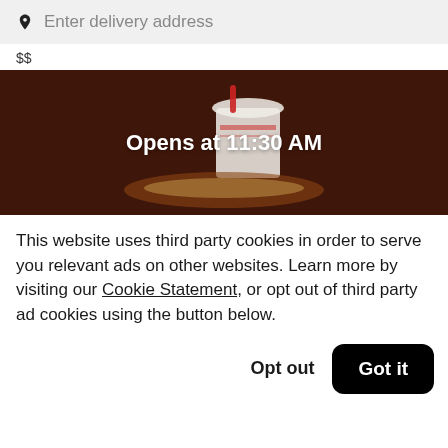Enter delivery address
$$
[Figure (photo): Restaurant food image with a drink cup and food items on a dark brown background, overlaid with text 'Opens at 11:30 AM']
This website uses third party cookies in order to serve you relevant ads on other websites. Learn more by visiting our Cookie Statement, or opt out of third party ad cookies using the button below.
Opt out
Got it